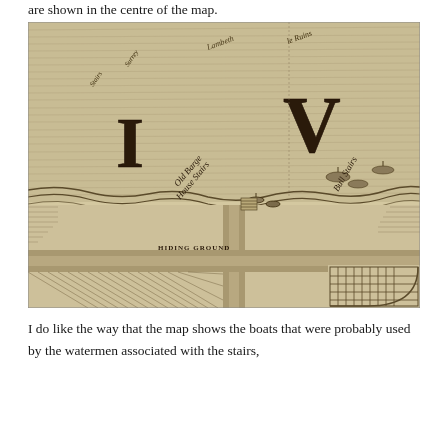are shown in the centre of the map.
[Figure (map): A historical engraved map showing a riverside area with Roman numerals I and V prominently displayed, cursive labels including 'Old Barge House', 'Bull Stairs', and hatched areas indicating streets and buildings near the Thames.]
I do like the way that the map shows the boats that were probably used by the watermen associated with the stairs,